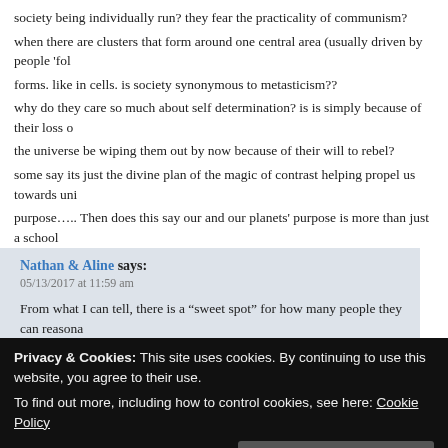society being individually run? they fear the practicality of communism?
when there are clusters that form around one central area (usually driven by people 'fol
forms. like in cells. is society synonymous to metasticism??
why do they care so much about self determination? is is simply because of their loss o
the universe be wiping them out by now because of their will to rebel?
some say its just the divine plan of the magic of contrast helping propel us towards uni
purpose….. Then does this say our and our planets' purpose is more than just a school
ramifications for the evolution of even the whole of existence?
Nathan & Aline says:
05/13/2017 at 11:59 am
From what I can tell, there is a “sweet spot” for how many people they can reasona
rewards of being the masters and kings over humanity. Depopulation is simply to r
system; all other reasons given are manipulations to get humanity to buy into and o
Privacy & Cookies: This site uses cookies. By continuing to use this website, you agree to their use.
To find out more, including how to control cookies, see here: Cookie Policy
Becca says: